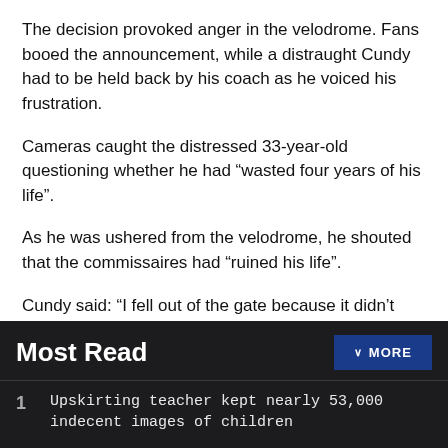The decision provoked anger in the velodrome. Fans booed the announcement, while a distraught Cundy had to be held back by his coach as he voiced his frustration.
Cameras caught the distressed 33-year-old questioning whether he had “wasted four years of his life”.
As he was ushered from the velodrome, he shouted that the commissaires had “ruined his life”.
Cundy said: “I fell out of the gate because it didn’t open. I’ve wasted four years of my life to ride in front of 6,000 people.
Most Read
1  Upskirting teacher kept nearly 53,000 indecent images of children